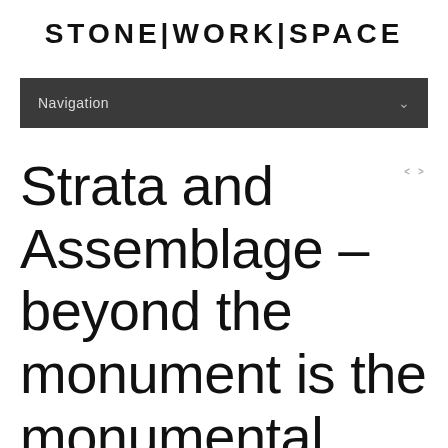STONE|WORK|SPACE
Navigation
Strata and Assemblage – beyond the monument is the monumental source – Kent